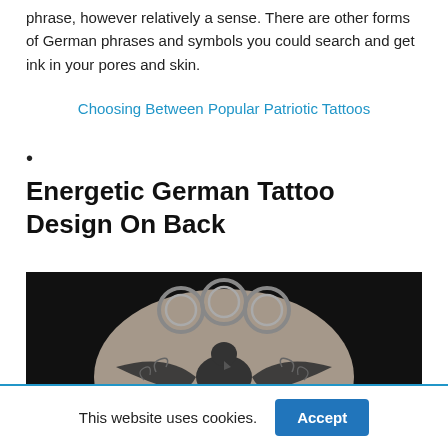phrase, however relatively a sense. There are other forms of German phrases and symbols you could search and get ink in your pores and skin.
Choosing Between Popular Patriotic Tattoos
•
Energetic German Tattoo Design On Back
[Figure (photo): Black and white tattoo on a person's back featuring a large eagle with spread wings and decorative circular motifs above it, in a dark-bordered photograph.]
This website uses cookies.